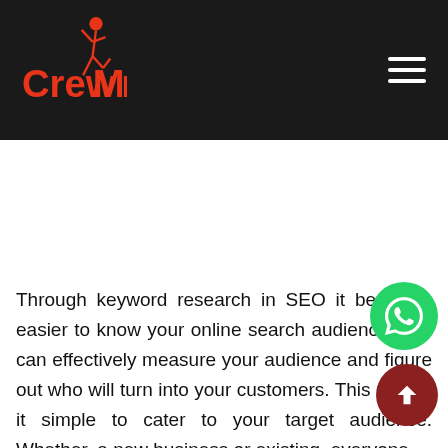CrewMan
Through keyword research in SEO it becomes easier to know your online search audience. You can effectively measure your audience and figure out who will turn into your customers. This makes it simple to cater to your target audience. Whether, a new business or existing, everyone